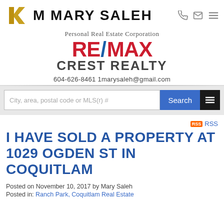[Figure (logo): Mary Saleh real estate agent logo with stylized K/M monogram and bold MARY SALEH text]
Personal Real Estate Corporation
[Figure (logo): RE/MAX CREST REALTY logo with red RE and MAX, blue slash, grey CREST REALTY]
604-626-8461  1marysaleh@gmail.com
City, area, postal code or MLS(r) #
RSS
I HAVE SOLD A PROPERTY AT 1029 OGDEN ST IN COQUITLAM
Posted on November 10, 2017  by Mary Saleh
Posted in: Ranch Park, Coquitlam Real Estate